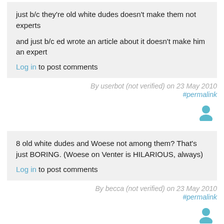just b/c they're old white dudes doesn't make them not experts

and just b/c ed wrote an article about it doesn't make him an expert
Log in to post comments
By userbot (not verified) on 23 May 2010
#permalink
[Figure (illustration): User avatar icon in blue/teal color]
8 old white dudes and Woese not among them? That's just BORING. (Woese on Venter is HILARIOUS, always)
Log in to post comments
By becca (not verified) on 23 May 2010
#permalink
[Figure (illustration): User avatar icon in blue/teal color]